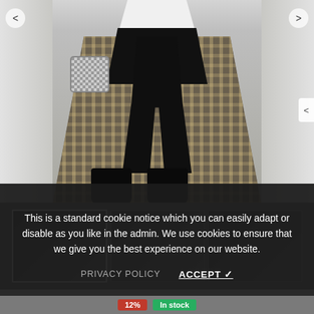[Figure (photo): Person wearing black faux leather leggings and black lace-up ankle boots, holding a patterned mini handbag, walking in a carpeted hallway. Navigation arrows visible on sides.]
[Figure (photo): Thumbnail strip showing three product images of the same outfit from different angles.]
This is a standard cookie notice which you can easily adapt or disable as you like in the admin. We use cookies to ensure that we give you the best experience on our website.
PRIVACY POLICY   ACCEPT ✓
12%   In stock